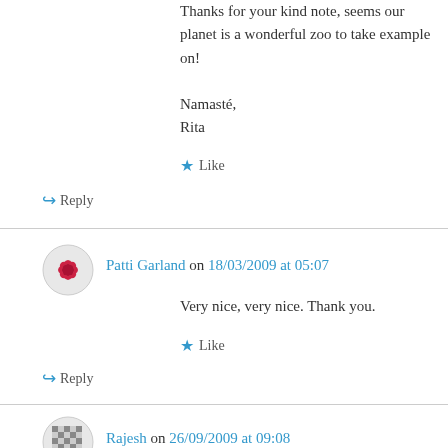Thanks for your kind note, seems our planet is a wonderful zoo to take example on!
Namasté,
Rita
★ Like
↪ Reply
Patti Garland on 18/03/2009 at 05:07
Very nice, very nice. Thank you.
★ Like
↪ Reply
Rajesh on 26/09/2009 at 09:08
Hello